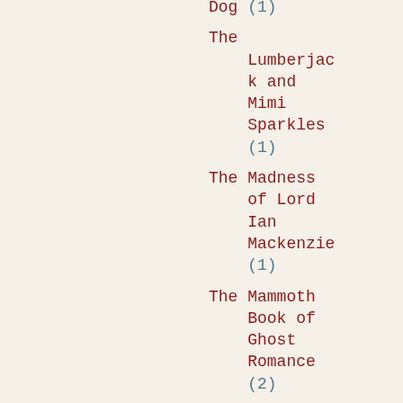Dog (1)
The Lumberjack and Mimi Sparkles (1)
The Madness of Lord Ian Mackenzie (1)
The Mammoth Book of Ghost Romance (2)
The Mane Squeeze